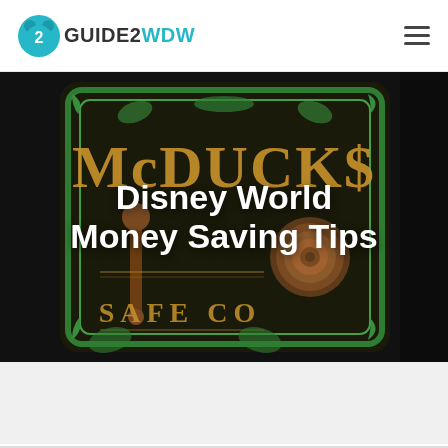Guide2WDW
[Figure (photo): McDuck's Safe Co sign — a dark wooden antique signboard with gold lettering reading 'McDUCK$' and 'SAFE CO', decorated with green ornamental details and a round wooden knob/lever in the foreground]
Disney World Money Saving Tips